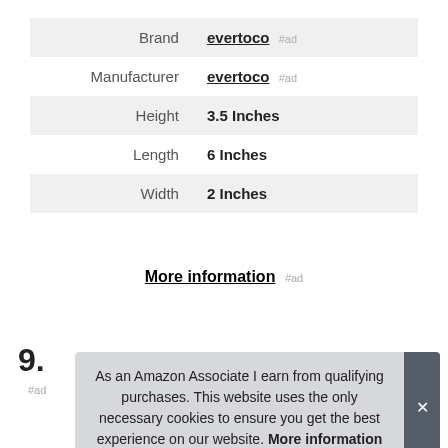|  |  |
| --- | --- |
| Brand | evertoco #ad |
| Manufacturer | evertoco #ad |
| Height | 3.5 Inches |
| Length | 6 Inches |
| Width | 2 Inches |
More information #ad
9.
#ad
As an Amazon Associate I earn from qualifying purchases. This website uses the only necessary cookies to ensure you get the best experience on our website. More information